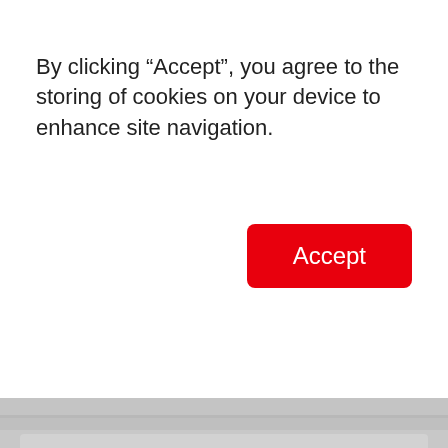By clicking “Accept”, you agree to the storing of cookies on your device to enhance site navigation.
[Figure (screenshot): Red Accept button]
Black
Exterior
Midnight Black Metallic
[Figure (other): Black color swatch rectangle]